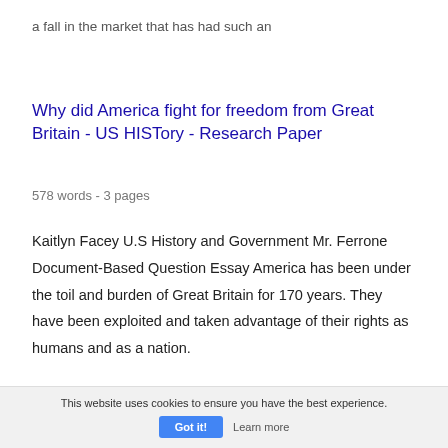a fall in the market that has had such an
Why did America fight for freedom from Great Britain - US HISTory - Research Paper
578 words - 3 pages
Kaitlyn Facey U.S History and Government Mr. Ferrone Document-Based Question Essay America has been under the toil and burden of Great Britain for 170 years. They have been exploited and taken advantage of their rights as humans and as a nation.
This website uses cookies to ensure you have the best experience. Got it! Learn more